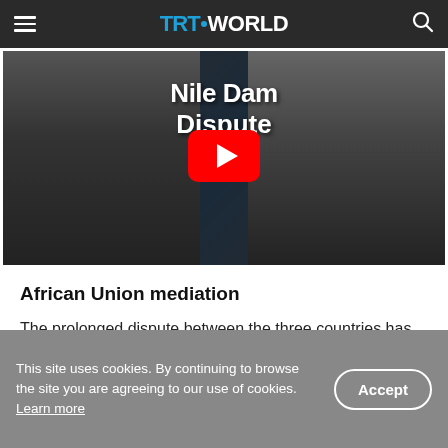TRT WORLD
[Figure (screenshot): YouTube video thumbnail showing two men in suits with text 'Nile Dam Dispute' overlaid and a YouTube play button in the center]
African Union mediation
The prolonged dispute between the three countries has continued even after the reservoir behind the
This site uses cookies. By continuing to browse the site you are agreeing to our use of cookies. Learn more